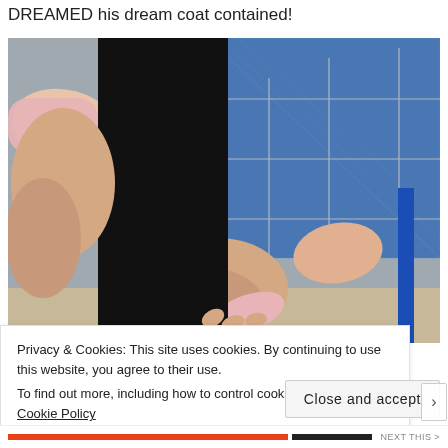DREAMED his dream coat contained!
[Figure (photo): Close-up photo of a person's hands holding a pink item, wearing a pink top and black trousers. Background shows a construction fence with blue netting and scaffolding in sunlight.]
Privacy & Cookies: This site uses cookies. By continuing to use this website, you agree to their use.
To find out more, including how to control cookies, see here: Cookie Policy
Close and accept